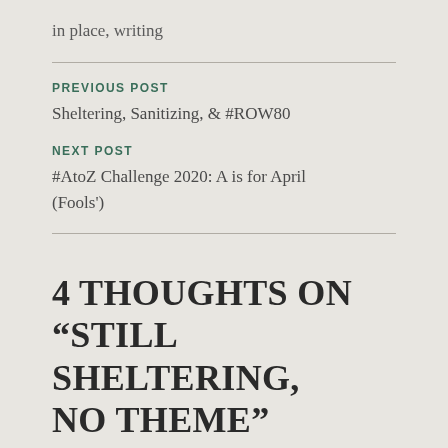in place, writing
PREVIOUS POST
Sheltering, Sanitizing, & #ROW80
NEXT POST
#AtoZ Challenge 2020: A is for April (Fools')
4 THOUGHTS ON “STILL SHELTERING, NO THEME”